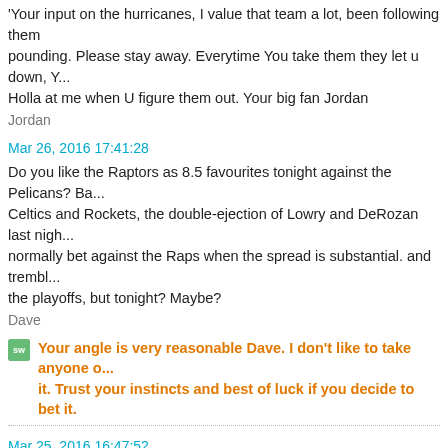Your input on the hurricanes, I value that team a lot, been following them pounding. Please stay away. Everytime You take them they let u down, Y... Holla at me when U figure them out. Your big fan Jordan
Jordan
Mar 26, 2016 17:41:28
Do you like the Raptors as 8.5 favourites tonight against the Pelicans? Ba... Celtics and Rockets, the double-ejection of Lowry and DeRozan last nigh... normally bet against the Raps when the spread is substantial. and trembl... the playoffs, but tonight? Maybe?
Dave
Your angle is very reasonable Dave. I don't like to take anyone o... it. Trust your instincts and best of luck if you decide to bet it.
Mar 25, 2016 16:47:52
Good Afternoon 'Woody'! Once again I'm onside with your take and analy... have the Devils +160 down for a couple of units. I just feel that the Caps the moment and that the Devils should be able to catch them napping ton... is the NYI +165. Some may argue that the Isles play as of late doesn't wa... success against the Bolts this season winning all previous meetings. With... I feel this is a good spot for Greiss and the Isles to respond & step up the... may be caught in a potential trap game in looking ahead to their weekend... let the chips fall as they may. As always, keep up the great work & best o...
Dawg_Bets
You make a good point about the Islanders. They are in a good ... is too high and in terms of value, I think you hit the nail on the h...